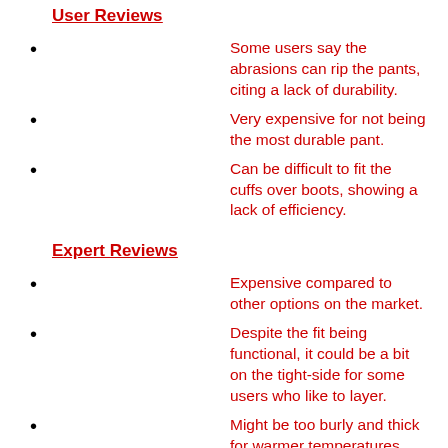User Reviews
Some users say the abrasions can rip the pants, citing a lack of durability.
Very expensive for not being the most durable pant.
Can be difficult to fit the cuffs over boots, showing a lack of efficiency.
Expert Reviews
Expensive compared to other options on the market.
Despite the fit being functional, it could be a bit on the tight-side for some users who like to layer.
Might be too burly and thick for warmer temperatures.
Summary:
The Mammut Nordwand Pro HS Pant for men is a protective,